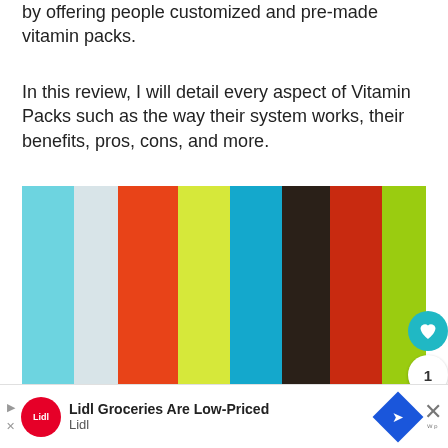by offering people customized and pre-made vitamin packs.
In this review, I will detail every aspect of Vitamin Packs such as the way their system works, their benefits, pros, cons, and more.
[Figure (other): A row of vertical color strips in cyan, light gray, orange-red, yellow-green, teal/blue, dark brown/black, red-orange, and lime green.]
Lidl Groceries Are Low-Priced Lidl